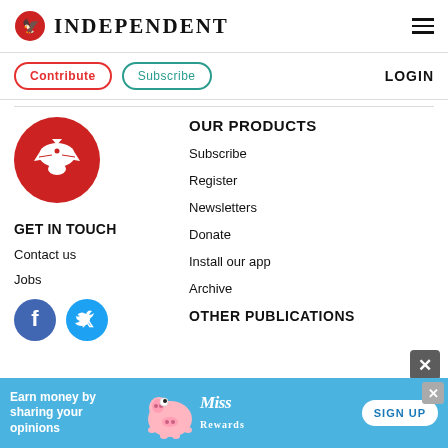INDEPENDENT
Contribute | Subscribe | LOGIN
[Figure (logo): Independent eagle logo in red circle]
GET IN TOUCH
Contact us
Jobs
[Figure (illustration): Facebook and Twitter social media icon circles]
OUR PRODUCTS
Subscribe
Register
Newsletters
Donate
Install our app
Archive
OTHER PUBLICATIONS
[Figure (infographic): Advertisement banner: Earn money by sharing your opinions - Miss Rewards sign up]